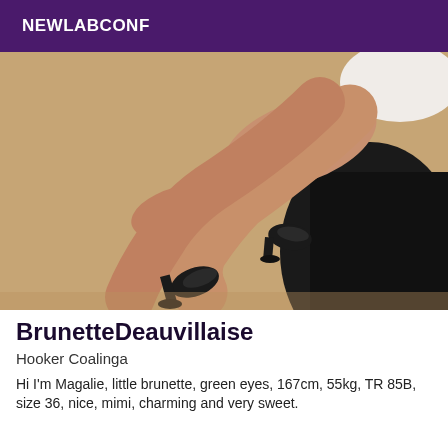NEWLABCONF
[Figure (photo): Photo of crossed legs in black high heels and black skirt against beige floor]
BrunetteDeauvillaise
Hooker Coalinga
Hi I'm Magalie, little brunette, green eyes, 167cm, 55kg, TR 85B, size 36, nice, mimi, charming and very sweet.